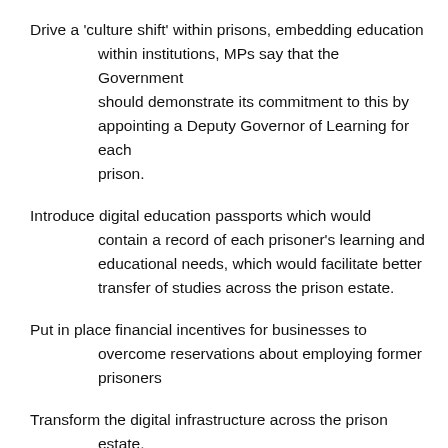Drive a 'culture shift' within prisons, embedding education within institutions, MPs say that the Government should demonstrate its commitment to this by appointing a Deputy Governor of Learning for each prison.
Introduce digital education passports which would contain a record of each prisoner's learning and educational needs, which would facilitate better transfer of studies across the prison estate.
Put in place financial incentives for businesses to overcome reservations about employing former prisoners
Transform the digital infrastructure across the prison estate.